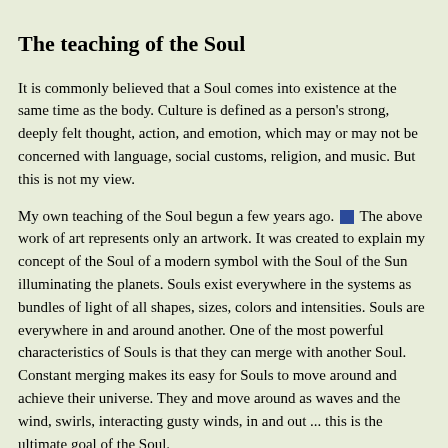The teaching of the Soul
It is commonly believed that a Soul comes into existence at the same time as the body. Culture is defined as a person's strong, deeply felt thought, action, and emotion, which may or may not be concerned with language, social customs, religion, and music. But this is not my view.
My own teaching of the Soul begun a few years ago. [blue square] The above work of art represents only an artwork. It was created to explain my concept of the Soul of a modern symbol together with the Soul of the Sun illuminating the planets. Souls exist everywhere in the system and are bundles of light of all shapes, sizes, colors and intensities. Souls are everywhere in and around one another. One of the most powerful characteristics of Souls is that they can merge with another Soul. Constant merging makes its easy for Souls to move around and achieve their universe. They move and move around as waves and the wind, swirls, interacting gusty winds, in and out ... this is the ultimate goal of the Soul.
All Souls are independent living beings, and they exist together elsewhere. They do so for everyone of us. The same Soul stays with us throughout our life. A Soul is a beautiful one and can have a soulmate. I do! Her physical form died a while ago but her Soul merged with mine. We are now one Soul, brighter, different, evolving, serving God and seeking God's Heaven!
Souls exist in all spaces and are goal oriented. The one goal common to all Souls is the spread of life. Then life becomes conscious of God. This goal is a global common to all So...